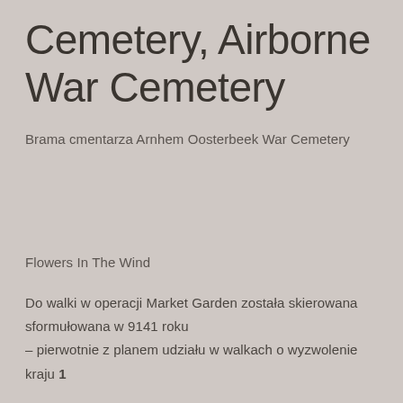Cemetery, Airborne War Cemetery
Brama cmentarza Arnhem Oosterbeek War Cemetery
Flowers In The Wind
Do walki w operacji Market Garden została skierowana sformułowana w 9141 roku – pierwotnie z planem udziału w walkach o wyzwolenie kraju 1